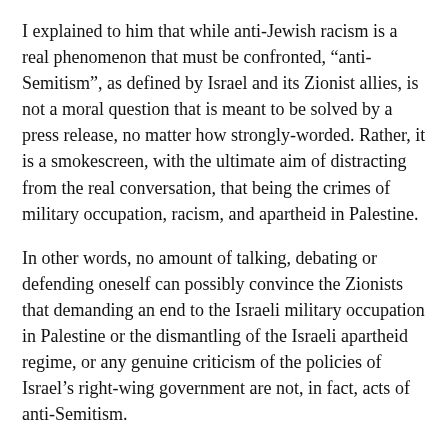I explained to him that while anti-Jewish racism is a real phenomenon that must be confronted, “anti-Semitism”, as defined by Israel and its Zionist allies, is not a moral question that is meant to be solved by a press release, no matter how strongly-worded. Rather, it is a smokescreen, with the ultimate aim of distracting from the real conversation, that being the crimes of military occupation, racism, and apartheid in Palestine.
In other words, no amount of talking, debating or defending oneself can possibly convince the Zionists that demanding an end to the Israeli military occupation in Palestine or the dismantling of the Israeli apartheid regime, or any genuine criticism of the policies of Israel’s right-wing government are not, in fact, acts of anti-Semitism.
Alas, the activist insisted that a strong statement that would clarify Labor’s position on anti-Semitism would finally absolve Corbyn and protect his legacy against the undeserved smearing.